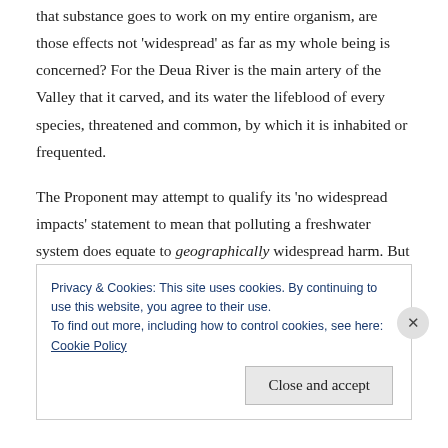that substance goes to work on my entire organism, are those effects not 'widespread' as far as my whole being is concerned? For the Deua River is the main artery of the Valley that it carved, and its water the lifeblood of every species, threatened and common, by which it is inhabited or frequented.
The Proponent may attempt to qualify its 'no widespread impacts' statement to mean that polluting a freshwater system does equate to geographically widespread harm. But this is equally untrue, for even the narrow river runs
Privacy & Cookies: This site uses cookies. By continuing to use this website, you agree to their use.
To find out more, including how to control cookies, see here:
Cookie Policy